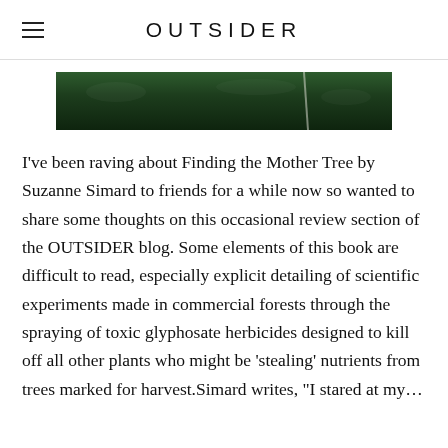OUTSIDER
[Figure (photo): Dark green forest canopy or grass photograph, cropped strip showing deep green foliage]
I've been raving about Finding the Mother Tree by Suzanne Simard to friends for a while now so wanted to share some thoughts on this occasional review section of the OUTSIDER blog. Some elements of this book are difficult to read, especially explicit detailing of scientific experiments made in commercial forests through the spraying of toxic glyphosate herbicides designed to kill off all other plants who might be 'stealing' nutrients from trees marked for harvest.Simard writes, "I stared at my...